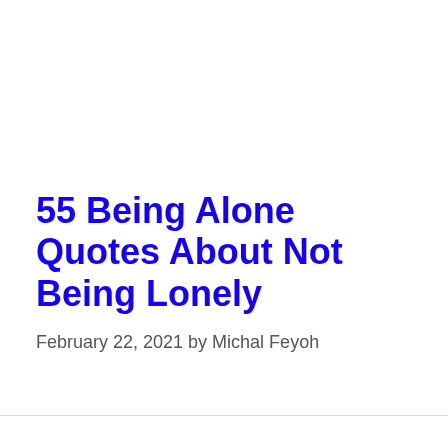55 Being Alone Quotes About Not Being Lonely
February 22, 2021 by Michal Feyoh